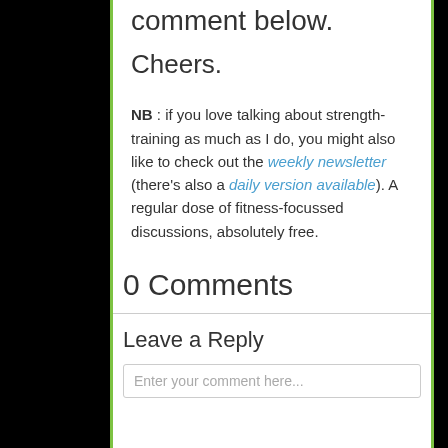comment below.
Cheers.
NB : if you love talking about strength-training as much as I do, you might also like to check out the weekly newsletter (there's also a daily version available). A regular dose of fitness-focussed discussions, absolutely free.
0 Comments
Leave a Reply
Enter your comment here...